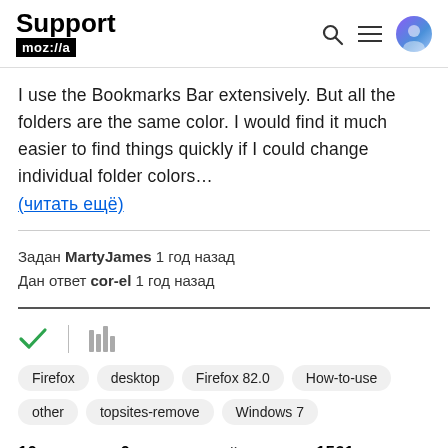Support mozilla//a
I use the Bookmarks Bar extensively. But all the folders are the same color. I would find it much easier to find things quickly if I could change individual folder colors… (читать ещё)
Задан MartyJames 1 год назад
Дан ответ cor-el 1 год назад
[Figure (other): Checkmark icon (green) and vertical bar chart icon (gray)]
Firefox   desktop   Firefox 82.0   How-to-use   other   topsites-remove   Windows 7
10 ответов  0 голоса на этой неделе  1561 просмотр